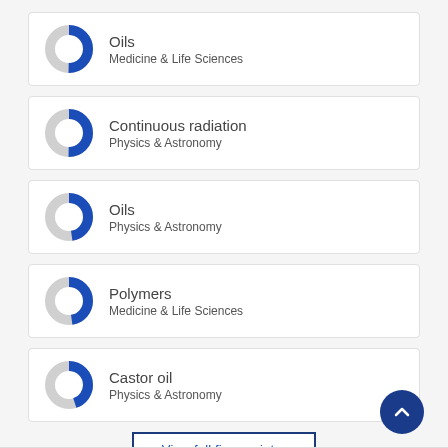Oils
Medicine & Life Sciences
Continuous radiation
Physics & Astronomy
Oils
Physics & Astronomy
Polymers
Medicine & Life Sciences
Castor oil
Physics & Astronomy
View full fingerprint ›